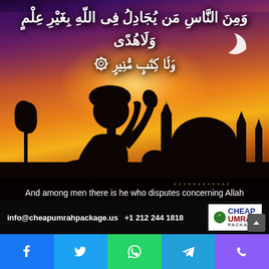[Figure (illustration): Islamic devotional image: silhouette of a man praying with hands raised against a dramatic sunset sky with a mosque skyline. Arabic Quranic verse text overlaid at top. Contact info and logo at bottom.]
وَمِنَ النَّاسِ مَن يُجَادِلُ فِى اللّهِ بِغَيْرِ عِلْمٍ وَلَاهُدًى وَلَا كِتَبٍ مُّنِيرٍ
And among men there is he who disputes concerning Allah without knowledge and without guidance and without an enlightening Book, [22:9]
info@cheapumrahpackage.us  +1 212 244 1818